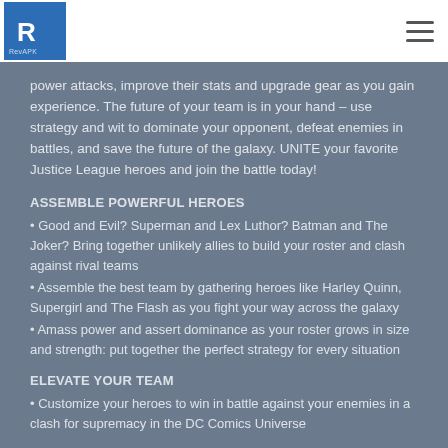RevAPK Free Download
power attacks, improve their stats and upgrade gear as you gain experience. The future of your team is in your hand – use strategy and wit to dominate your opponent, defeat enemies in battles, and save the future of the galaxy. UNITE your favorite Justice League heroes and join the battle today!
ASSEMBLE POWERFUL HEROES
• Good and Evil? Superman and Lex Luthor? Batman and The Joker? Bring together unlikely allies to build your roster and clash against rival teams
• Assemble the best team by gathering heroes like Harley Quinn, Supergirl and The Flash as you fight your way across the galaxy
• Amass power and assert dominance as your roster grows in size and strength: put together the perfect strategy for every situation
ELEVATE YOUR TEAM
• Customize your heroes to win in battle against your enemies in a clash for supremacy in the DC Comics Universe